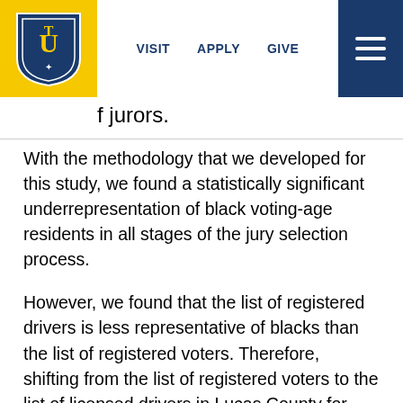VISIT  APPLY  GIVE
f jurors.
With the methodology that we developed for this study, we found a statistically significant underrepresentation of black voting-age residents in all stages of the jury selection process.
However, we found that the list of registered drivers is less representative of blacks than the list of registered voters. Therefore, shifting from the list of registered voters to the list of licensed drivers in Lucas County for jury selection would increase the black underrepresentation in juries.
The comparison of derived and reported race for